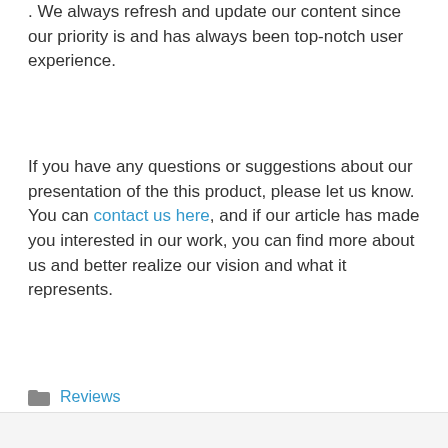. We always refresh and update our content since our priority is and has always been top-notch user experience.
If you have any questions or suggestions about our presentation of the this product, please let us know. You can contact us here, and if our article has made you interested in our work, you can find more about us and better realize our vision and what it represents.
Reviews
salmon colored curtains
cellmass gnc